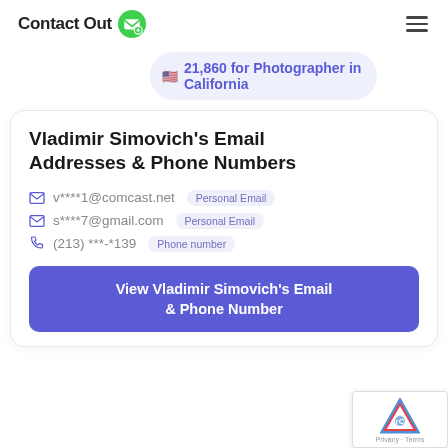ContactOut
🇺🇸 21,860 for Photographer in California
Vladimir Simovich's Email Addresses & Phone Numbers
✉ v****1@comcast.net  Personal Email
✉ s****7@gmail.com  Personal Email
📞 (213) ***-*139  Phone number
View Vladimir Simovich's Email & Phone Number